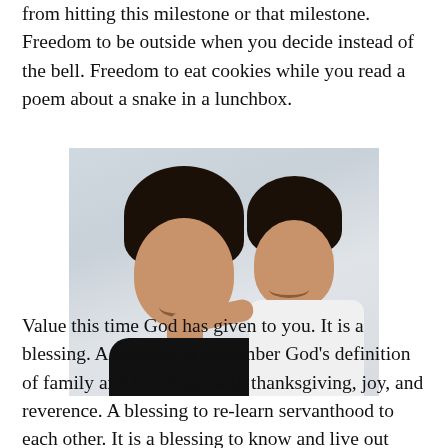from hitting this milestone or that milestone. Freedom to be outside when you decide instead of the bell. Freedom to eat cookies while you read a poem about a snake in a lunchbox.
[Figure (photo): A smiling woman holding a young child on her back, both facing the camera, photographed outdoors against a light stone background.]
Value this time God has given to you. It is a blessing. A blessing to remember God's definition of family and live it out with thanksgiving, joy, and reverence. A blessing to re-learn servanthood to each other. It is a blessing to know and live out